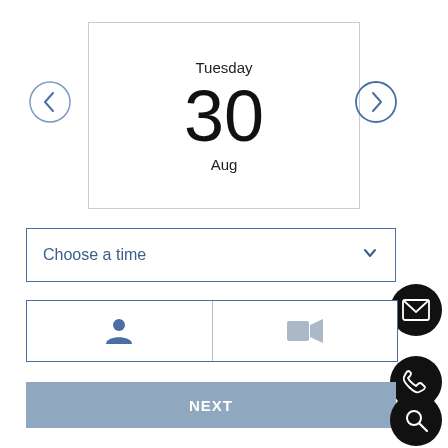[Figure (screenshot): Date picker card showing Tuesday, 30 Aug with left and right navigation arrows]
Tuesday
30
Aug
[Figure (screenshot): Choose a time dropdown selector with chevron]
Choose a time
[Figure (screenshot): Meeting type selector with in-person (person icon) and video (camera icon) options]
[Figure (screenshot): NEXT button in muted blue]
NEXT
[Figure (infographic): Three floating action buttons: email (envelope icon), phone (handset icon), search (magnifying glass icon)]